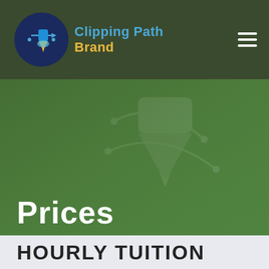Clipping Path Brand
Prices
HOURLY TUITION